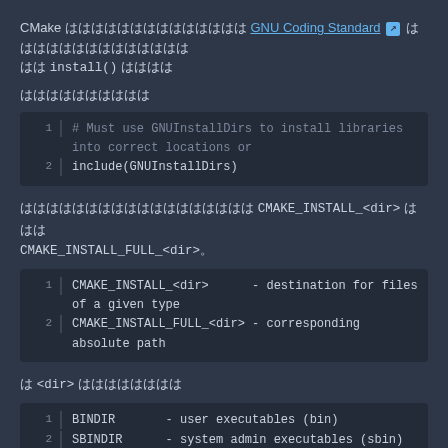CMake ははははははははははははは GNU Coding Standard 🔗 はははははははははははは はは install() ははは
はははははははははは
[Figure (screenshot): Code block with 2 lines: line 1: # Must use GNUInstallDirs to install libraries into correct locations or, line 2: include(GNUInstallDirs)]
はははははははははははははははは CMAKE_INSTALL_<dir> ははは CMAKE_INSTALL_FULL_<dir>。
[Figure (screenshot): Code block with 2 lines: line 1: CMAKE_INSTALL_<dir>      - destination for files of a given type, line 2: CMAKE_INSTALL_FULL_<dir> - corresponding absolute path]
は <dir> はははははははは
[Figure (screenshot): Code block with 2 lines: line 1: BINDIR      - user executables (bin), line 2: SBINDIR     - system admin executables (sbin)]